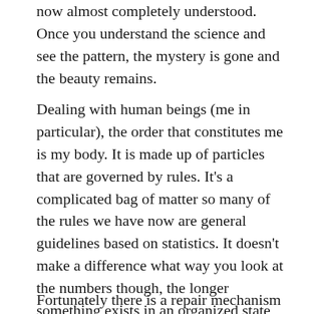now almost completely understood. Once you understand the science and see the pattern, the mystery is gone and the beauty remains.
Dealing with human beings (me in particular), the order that constitutes me is my body. It is made up of particles that are governed by rules. It's a complicated bag of matter so many of the rules we have now are general guidelines based on statistics. It doesn't make a difference what way you look at the numbers though, the longer something exists in an organized state, the less likely it is to continue to exist in that state. Everything is falling apart....
Fortunately there is a repair mechanism built into living things to stop them from falling